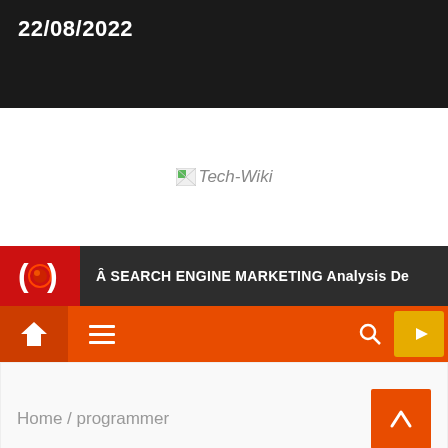22/08/2022
[Figure (logo): Tech-Wiki logo placeholder image with broken image icon and italic text 'Tech-Wiki']
Â‌ SEARCH ENGINE MARKETING Analysis De
Home / programmer
programmer